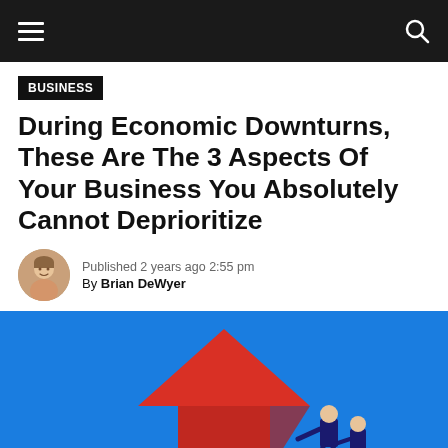BUSINESS
During Economic Downturns, These Are The 3 Aspects Of Your Business You Absolutely Cannot Deprioritize
Published 2 years ago 2:55 pm By Brian DeWyer
[Figure (illustration): Blue background illustration showing a large red upward arrow with two businessmen figures pushing or supporting it, representing economic growth or recovery during a downturn.]